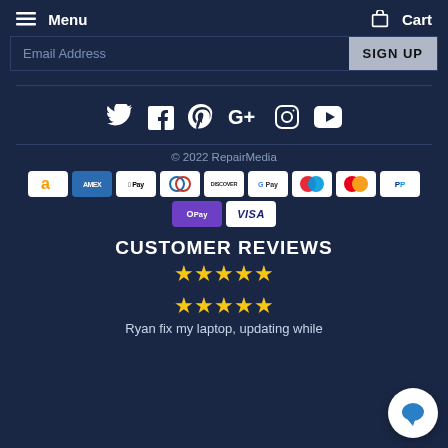Menu  Cart
Email Address  SIGN UP
[Figure (infographic): Social media icons: Twitter, Facebook, Pinterest, Google+, Instagram, YouTube]
© 2022 RepairMedia
[Figure (infographic): Payment method icons: Amazon, Amex, Apple Pay, Diners Club, Discover, Google Pay, Maestro, Mastercard, PayPal, OPay, Visa]
CUSTOMER REVIEWS
[Figure (infographic): 5 gold stars rating]
[Figure (infographic): 5 gold stars rating (review)]
Ryan fix my laptop, updating while